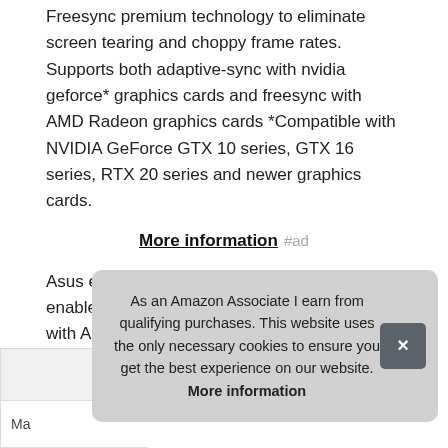Freesync premium technology to eliminate screen tearing and choppy frame rates. Supports both adaptive-sync with nvidia geforce* graphics cards and freesync with AMD Radeon graphics cards *Compatible with NVIDIA GeForce GTX 10 series, GTX 16 series, RTX 20 series and newer graphics cards.
More information #ad
Asus extreme low motion blur elmb technology enables a 1ms response time MPRT together with Adaptive-sync, eliminating ghosting and tearing for sharp gaming visuals with high frame rates.
As an Amazon Associate I earn from qualifying purchases. This website uses the only necessary cookies to ensure you get the best experience on our website. More information